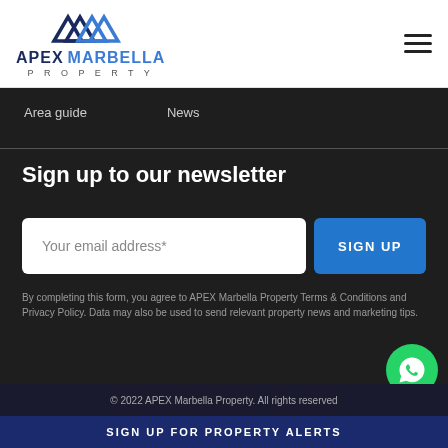[Figure (logo): APEX Marbella Property logo with stylized mountain/chevron shapes in blue and dark blue]
Area guide   News
Sign up to our newsletter
Your email address*
SIGN UP
By completing this form, you agree to APEX Marbella Property Terms & Conditions and Privacy Policy. Data may also be used to send relevant property news and marketing tips.
© 2022 APEX Marbella Property. All rights reserved
SIGN UP FOR PROPERTY ALERTS